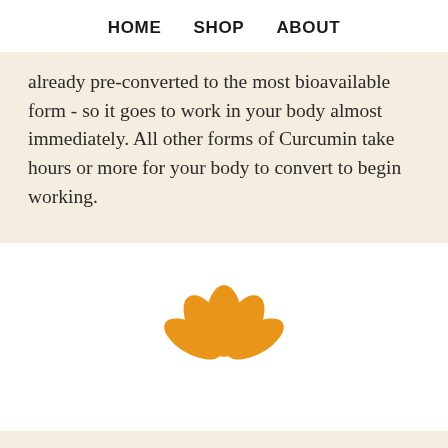HOME   SHOP   ABOUT
already pre-converted to the most bioavailable form - so it goes to work in your body almost immediately. All other forms of Curcumin take hours or more for your body to convert to begin working.
[Figure (logo): Orange lotus/plant leaf logo icon with five petal-shaped leaves arranged in a fan pattern]
Truth Origins has been featured in